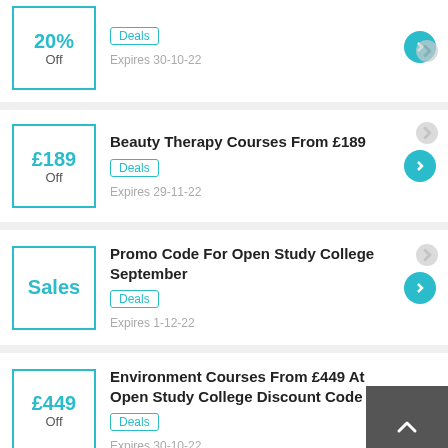20% Off — Deals — Expires 30-10-22
Beauty Therapy Courses From £189
Deals — Expires 29-11-22
Promo Code For Open Study College September
Deals — Expires 1-12-22
Environment Courses From £449 At Open Study College Discount Code
Deals — Expires 30-10-22